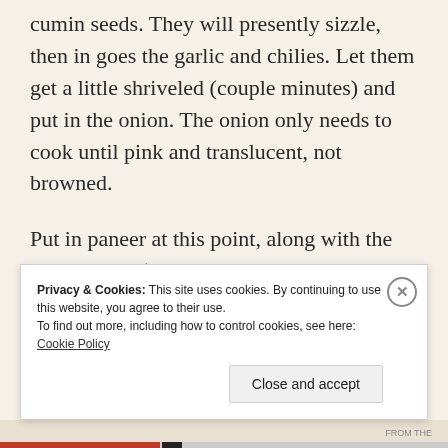cumin seeds. They will presently sizzle, then in goes the garlic and chilies. Let them get a little shriveled (couple minutes) and put in the onion. The onion only needs to cook until pink and translucent, not browned.
Put in paneer at this point, along with the dry masalas (turmeric powder, red chili powder and salt). Stir to combine. Greens
Privacy & Cookies: This site uses cookies. By continuing to use this website, you agree to their use.
To find out more, including how to control cookies, see here: Cookie Policy